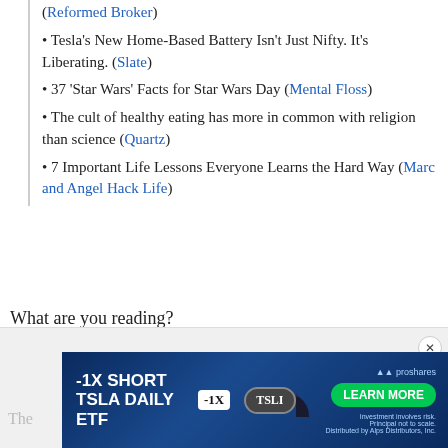(Reformed Broker)
• Tesla's New Home-Based Battery Isn't Just Nifty. It's Liberating. (Slate)
• 37 'Star Wars' Facts for Star Wars Day (Mental Floss)
• The cult of healthy eating has more in common with religion than science (Quartz)
• 7 Important Life Lessons Everyone Learns the Hard Way (Marc and Angel Hack Life)
What are you reading?
[Figure (infographic): Advertisement banner for -1X Short TSLA Daily ETF (TSLI) by ProShares. Dark blue background with car image, green Learn More button.]